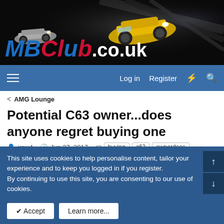[Figure (logo): MBClub.co.uk website header banner with racing Mercedes cars and logo]
Log in   Register
< AMG Lounge
Potential C63 owner...does anyone regret buying one
jraw4 · Jun 27, 2017 · buying c63 ownerdoes potential regret
This site uses cookies to help personalise content, tailor your experience and to keep you logged in if you register.
By continuing to use this site, you are consenting to our use of cookies.